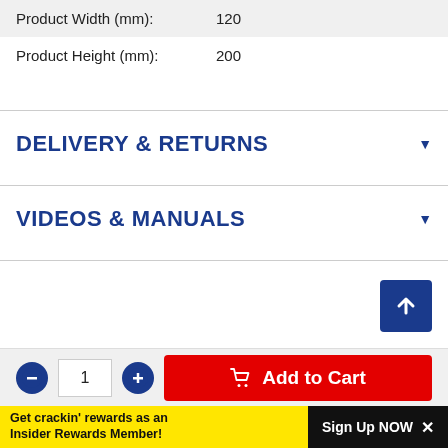| Property | Value |
| --- | --- |
| Product Width (mm): | 120 |
| Product Height (mm): | 200 |
DELIVERY & RETURNS
VIDEOS & MANUALS
1
Add to Cart
Get crackin' rewards as an Insider Rewards Member!
Sign Up NOW ×